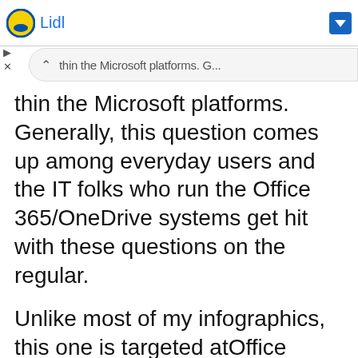[Figure (screenshot): Lidl advertisement bar with logo and blue arrow dropdown button, plus navigation controls (play, close) below it]
thin the Microsoft platforms. Generally, this question comes up among everyday users and the IT folks who run the Office 365/OneDrive systems get hit with these questions on the regular.
Unlike most of my infographics, this one is targeted atOffice 365/OneDrive administrators, but it can also be useful for savvy users who just need a clear way to decipher which OneDrive experience is which.
[Figure (infographic): Family Tree of OneDrive for Office 365 & SharePoint admins infographic header (blue background) with columns: For individuals, Cloud-based organizations, On-premises organizations, Hybrid organizations, Sync client & mobile apps — each with icon and OneDrive label badge]